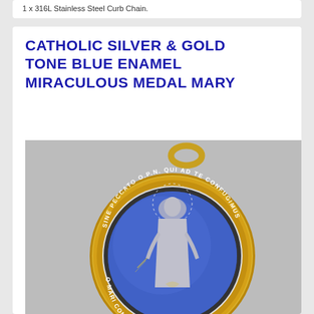1 x 316L Stainless Steel Curb Chain.
CATHOLIC SILVER & GOLD TONE BLUE ENAMEL MIRACULOUS MEDAL MARY
[Figure (photo): A Catholic miraculous medal with a gold-tone rim and bail, featuring a blue enamel background with a silver-tone figure of the Virgin Mary in the center. Text around the medal reads: O MARI CONCEPTA SINE PECCATO O.P.N. QUI AD TE CONFUGIMUS.]